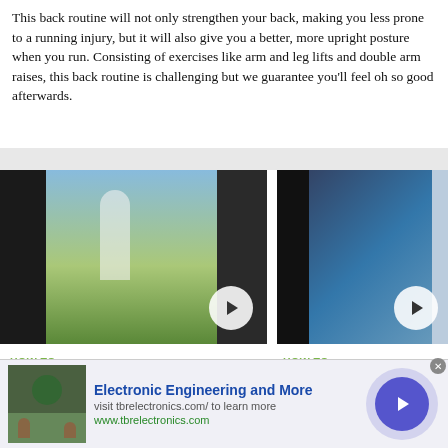This back routine will not only strengthen your back, making you less prone to a running injury, but it will also give you a better, more upright posture when you run. Consisting of exercises like arm and leg lifts and double arm raises, this back routine is challenging but we guarantee you'll feel oh so good afterwards.
[Figure (photo): Video thumbnail of a runner in a field with play button overlay]
[Figure (photo): Video thumbnail of a person doing a stretch routine with resistance band, play button overlay]
HOW TO
Do running diagonals to improve leg turnover and running form
BY WONDERHOWTO  10/12/2010 8:17 PM
RUNNING & WALKING
HOW TO
Complete a 15 minute post-run stretch routine
BY WONDERHOWTO  10/12/2010 8:23 PM
RUNNING & WALKING
Not stretching after a good run will
[Figure (infographic): Advertisement banner: Electronic Engineering and More - visit tbrelectronics.com to learn more - www.tbrelectronics.com]